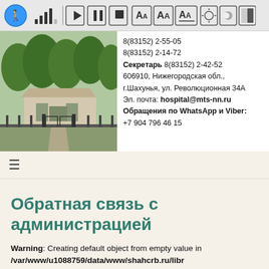[Figure (screenshot): Accessibility toolbar with walk icon, signal bars, play/pause/stop buttons, font size controls (AA), and brightness/contrast controls]
[Figure (photo): Exterior photo of a hospital building with a gate and trees]
8(83152) 2-55-05
8(83152) 2-14-72
Секретарь 8(83152) 2-42-52
606910, Нижегородская обл., г.Шахунья, ул. Революционная 34А
Эл. почта: hospital@mts-nn.ru
Обращения по WhatsApp и Viber:
+7 904 796 46 15
[Figure (other): Hamburger menu icon (three horizontal lines)]
Обратная связь с администрацией
Warning: Creating default object from empty value in /var/www/u1088759/data/www/shahcrb.ru/libraries/cegcore2/libs/helper.php on line 22